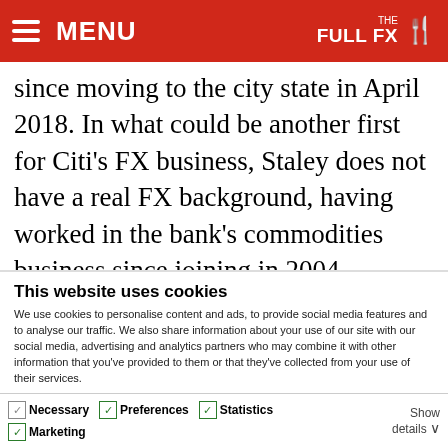MENU | The Full FX
since moving to the city state in April 2018. In what could be another first for Citi's FX business, Staley does not have a real FX background, having worked in the bank's commodities business since joining in 2004
This website uses cookies
We use cookies to personalise content and ads, to provide social media features and to analyse our traffic. We also share information about your use of our site with our social media, advertising and analytics partners who may combine it with other information that you've provided to them or that they've collected from your use of their services.
Allow all cookies
Allow selection
Use necessary cookies only
Necessary  Preferences  Statistics  Marketing  Show details